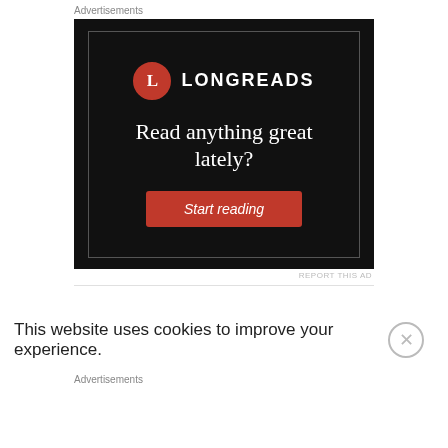[Figure (advertisement): Longreads advertisement: black background with Longreads logo (red circle with L and LONGREADS text), tagline 'Read anything great lately?' and red 'Start reading' button]
This website uses cookies to improve your experience.
[Figure (advertisement): Help send medical aid to Ukraine - Direct Relief banner advertisement with orange background]